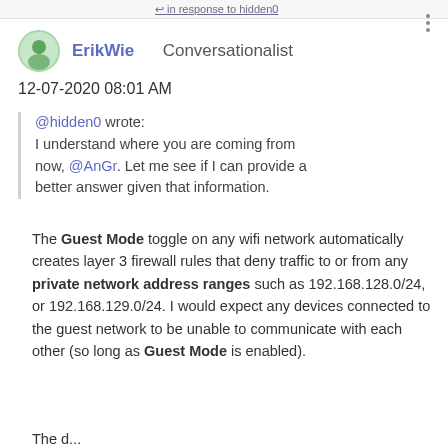↩ in response to hidden0
ErikWie Conversationalist
12-07-2020 08:01 AM
@hidden0 wrote:
I understand where you are coming from now, @AnGr. Let me see if I can provide a better answer given that information.
The Guest Mode toggle on any wifi network automatically creates layer 3 firewall rules that deny traffic to or from any private network address ranges such as 192.168.128.0/24, or 192.168.129.0/24. I would expect any devices connected to the guest network to be unable to communicate with each other (so long as Guest Mode is enabled).